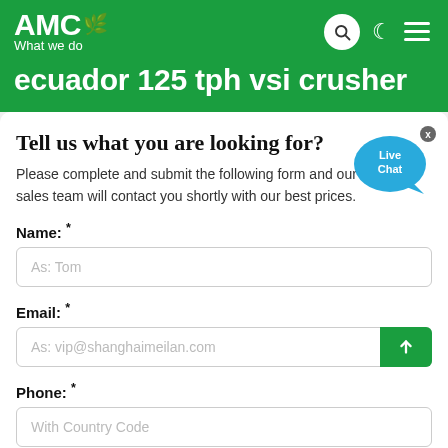AMC What we do
ecuador 125 tph vsi crusher
Tell us what you are looking for?
Please complete and submit the following form and our sales team will contact you shortly with our best prices.
Name: *
As: Tom
Email: *
As: vip@shanghaimeilan.com
Phone: *
With Country Code